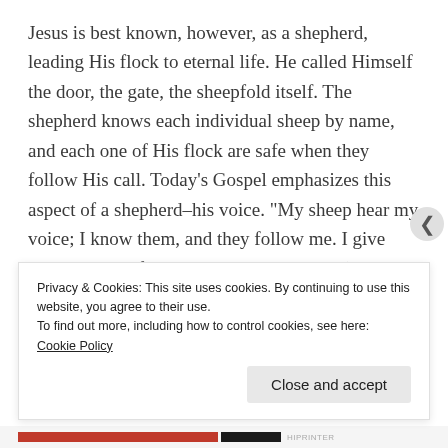Jesus is best known, however, as a shepherd, leading His flock to eternal life. He called Himself the door, the gate, the sheepfold itself. The shepherd knows each individual sheep by name, and each one of His flock are safe when they follow His call. Today's Gospel emphasizes this aspect of a shepherd–his voice. "My sheep hear my voice; I know them, and they follow me. I give them eternal life, and they never perish." (John 10:27-28)
Many in our world are now fascinated by another
Privacy & Cookies: This site uses cookies. By continuing to use this website, you agree to their use.
To find out more, including how to control cookies, see here: Cookie Policy